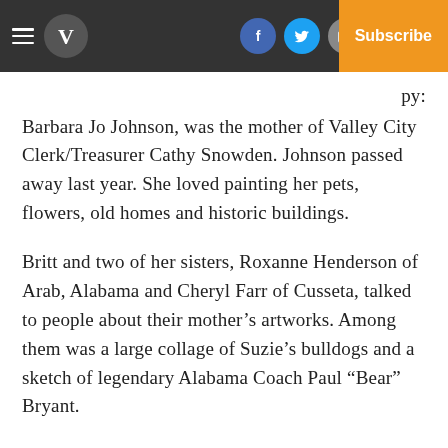Navigation bar with hamburger menu, V logo, Facebook, Twitter, Mail icons, Log In, Subscribe
Barbara Jo Johnson, was the mother of Valley City Clerk/Treasurer Cathy Snowden. Johnson passed away last year. She loved painting her pets, flowers, old homes and historic buildings.
Britt and two of her sisters, Roxanne Henderson of Arab, Alabama and Cheryl Farr of Cusseta, talked to people about their mother's artworks. Among them was a large collage of Suzie's bulldogs and a sketch of legendary Alabama Coach Paul “Bear” Bryant.
“I was expecting this show to do well, but it turned out even better than I expected,” Britt said. “We have